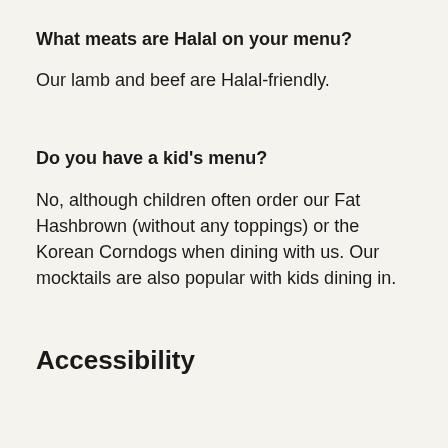What meats are Halal on your menu?
Our lamb and beef are Halal-friendly.
Do you have a kid's menu?
No, although children often order our Fat Hashbrown (without any toppings) or the Korean Corndogs when dining with us. Our mocktails are also popular with kids dining in.
Accessibility